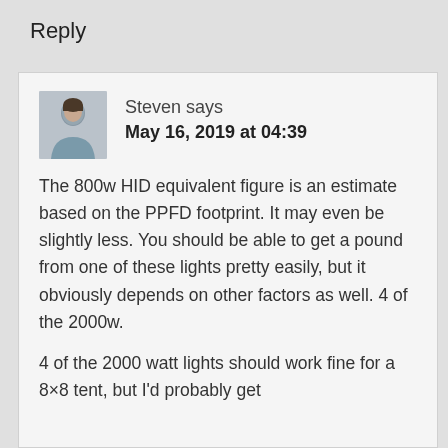Reply
Steven says
May 16, 2019 at 04:39
The 800w HID equivalent figure is an estimate based on the PPFD footprint. It may even be slightly less. You should be able to get a pound from one of these lights pretty easily, but it obviously depends on other factors as well. 4 of the 2000w.
4 of the 2000 watt lights should work fine for a 8x8 tent, but I'd probably get